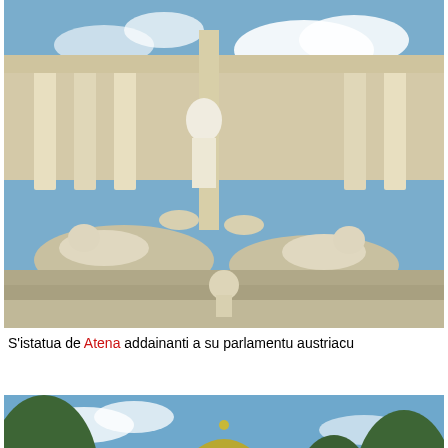[Figure (photo): Photograph of the Athena statue in front of the Austrian Parliament building in Vienna. White marble sculptures with classical columns visible in the background against a blue sky.]
S'istatua de Atena addainanti a su parlamentu austriacu
[Figure (photo): Photograph of a building with a golden dome and white facade surrounded by green trees, with a bronze bust sculpture on a pedestal in the foreground, and flower beds at the base.]